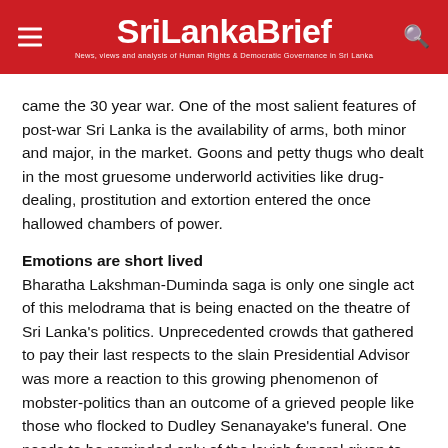SriLankaBrief — News, views and analysis of Human Rights & Democratic Governance in Sri Lanka
came the 30 year war. One of the most salient features of post-war Sri Lanka is the availability of arms, both minor and major, in the market. Goons and petty thugs who dealt in the most gruesome underworld activities like drug-dealing, prostitution and extortion entered the once hallowed chambers of power.
Emotions are short lived
Bharatha Lakshman-Duminda saga is only one single act of this melodrama that is being enacted on the theatre of Sri Lanka's politics. Unprecedented crowds that gathered to pay their last respects to the slain Presidential Advisor was more a reaction to this growing phenomenon of mobster-politics than an outcome of a grieved people like those who flocked to Dudley Senanayake's funeral. One needs to be reminded only of the lavish funeral given to Dion O'Bannion, Chicago's vicious North Side Irish gang leader. It is one of the most talked about funerals in the history of the American Mafia.